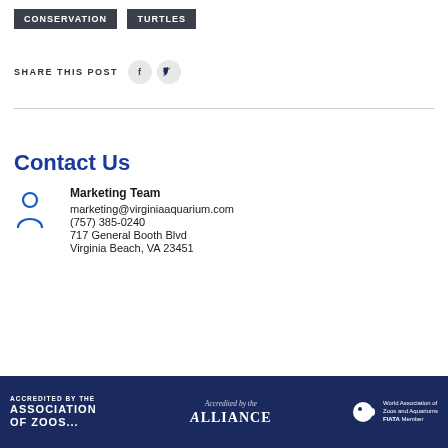CONSERVATION   TURTLES
SHARE THIS POST
Contact Us
Marketing Team
marketing@virginiaaquarium.com
(757) 385-0240
717 General Booth Blvd
Virginia Beach, VA 23451
ACCREDITED BY THE ASSOCIATION OF ZOOS   Accredited by the ALLIANCE   World Association of Zoos and Aquariums